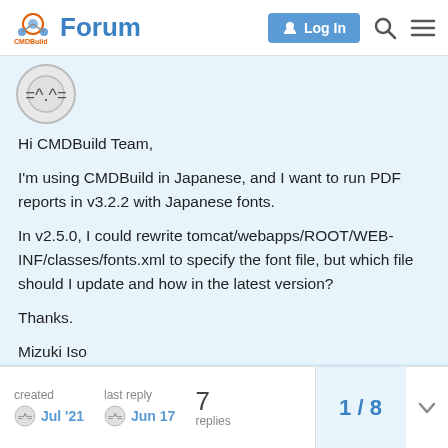CMDBuild Forum
[Figure (illustration): User avatar circle with cat face icon]
Hi CMDBuild Team,
I'm using CMDBuild in Japanese, and I want to run PDF reports in v3.2.2 with Japanese fonts.
In v2.5.0, I could rewrite tomcat/webapps/ROOT/WEB-INF/classes/fonts.xml to specify the font file, but which file should I update and how in the latest version?
Thanks.
Mizuki Iso
created Jul '21  last reply Jun 17  7 replies  1 / 8